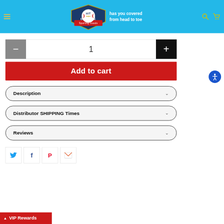[Figure (logo): Hit a Double Sporting Goods logo on cyan/blue header with tagline 'has you covered from head to toe']
1
Add to cart
Description
Distributor SHIPPING Times
Reviews
VIP Rewards